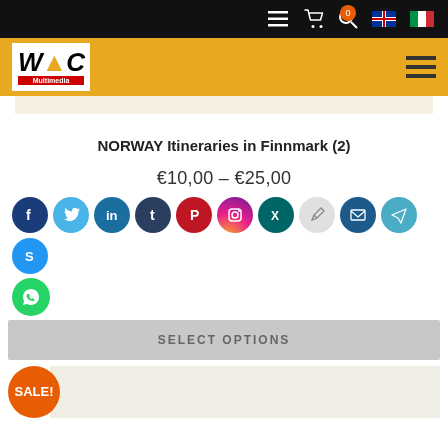WOC Multimedia website header with navigation icons
NORWAY Itineraries in Finnmark (2)
€10,00 – €25,00
[Figure (other): Social media sharing icons row: Facebook, Twitter, LinkedIn, Tumblr, Pinterest, Instagram, Xing, Edit/Pencil, Email, Telegram, Skype, WhatsApp]
SELECT OPTIONS
[Figure (other): SALE! badge (orange circle) with product thumbnail image placeholder]